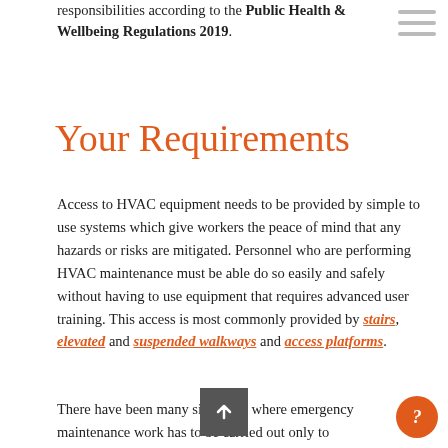responsibilities according to the Public Health & Wellbeing Regulations 2019.
Your Requirements
Access to HVAC equipment needs to be provided by simple to use systems which give workers the peace of mind that any hazards or risks are mitigated. Personnel who are performing HVAC maintenance must be able do so easily and safely without having to use equipment that requires advanced user training. This access is most commonly provided by stairs, elevated and suspended walkways and access platforms.
There have been many situations where emergency maintenance work has to be carried out only to